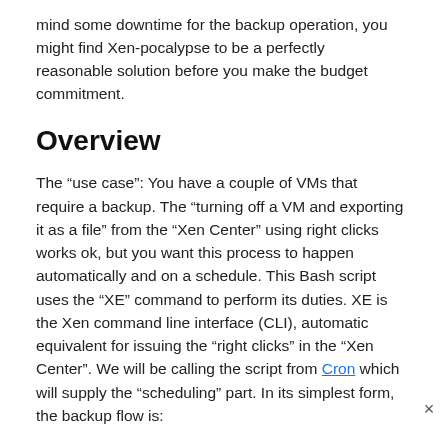mind some downtime for the backup operation, you might find Xen-pocalypse to be a perfectly reasonable solution before you make the budget commitment.
Overview
The “use case”: You have a couple of VMs that require a backup. The “turning off a VM and exporting it as a file” from the “Xen Center” using right clicks works ok, but you want this process to happen automatically and on a schedule. This Bash script uses the “XE” command to perform its duties. XE is the Xen command line interface (CLI), automatic equivalent for issuing the “right clicks” in the “Xen Center”. We will be calling the script from Cron which will supply the “scheduling” part. In its simplest form, the backup flow is: